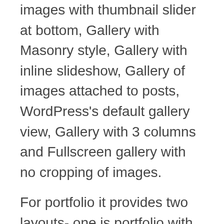images with thumbnail slider at bottom, Gallery with Masonry style, Gallery with inline slideshow, Gallery of images attached to posts, WordPress's default gallery view, Gallery with 3 columns and Fullscreen gallery with no cropping of images.
For portfolio it provides two layouts- one is portfolio with 2 columns and another with 3 columns, Blog with single column layout. This theme is compatible with Woocommerce plugin hence you can easily have shop page on your site using Flashlight.
Each time you hover a gallery image or portfolio image or a shop page item, it has some amazing effect and will display further details about that image or item on hover. It has 3